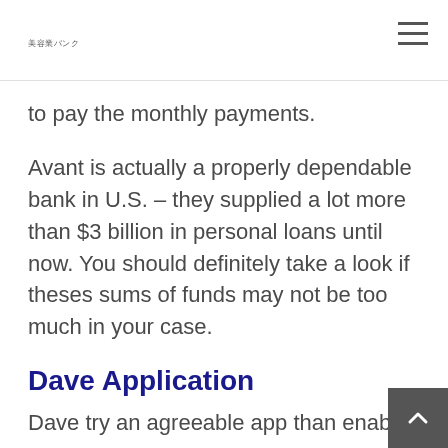美容業バンク
to pay the monthly payments.
Avant is actually a properly dependable bank in U.S. – they supplied a lot more than $3 billion in personal loans until now. You should definitely take a look if theses sums of funds may not be too much in your case.
Dave Application
Dave try an agreeable app than enable